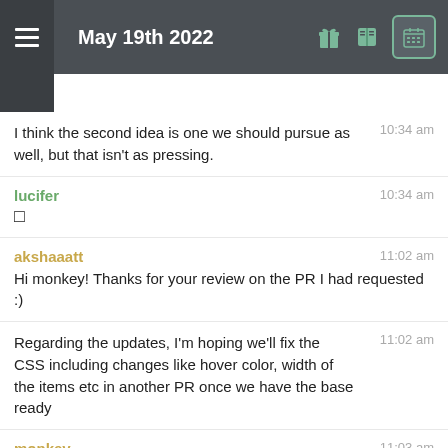May 19th 2022
I think the second idea is one we should pursue as well, but that isn't as pressing.
lucifer
□
akshaaatt
Hi monkey! Thanks for your review on the PR I had requested :)
Regarding the updates, I'm hoping we'll fix the CSS including changes like hover color, width of the items etc in another PR once we have the base ready
monkey
Yeah, that sounds good. I just wanted to put it on our radar, but it doesn't seem to be the right PR for this